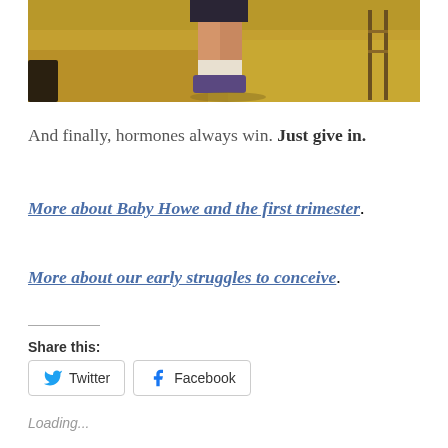[Figure (photo): Partial photo showing person's legs and feet wearing running shoes and white socks, standing on dry grassy terrain]
And finally, hormones always win. Just give in.
More about Baby Howe and the first trimester.
More about our early struggles to conceive.
Share this:
Twitter
Facebook
Loading...